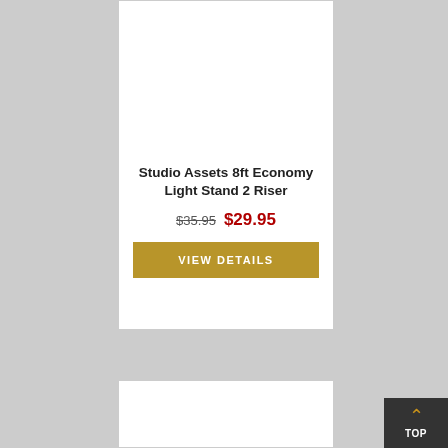Studio Assets 8ft Economy Light Stand 2 Riser
$35.95  $29.95
VIEW DETAILS